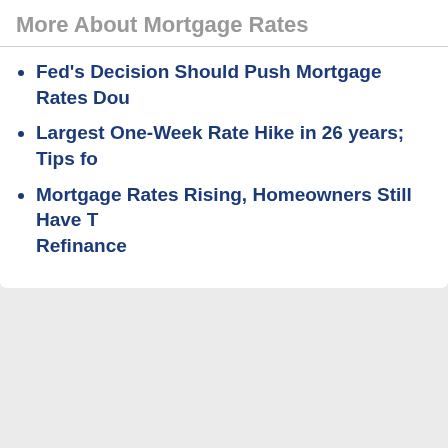More About Mortgage Rates
Fed's Decision Should Push Mortgage Rates Dow…
Largest One-Week Rate Hike in 26 years; Tips fo…
Mortgage Rates Rising, Homeowners Still Have T… Refinance